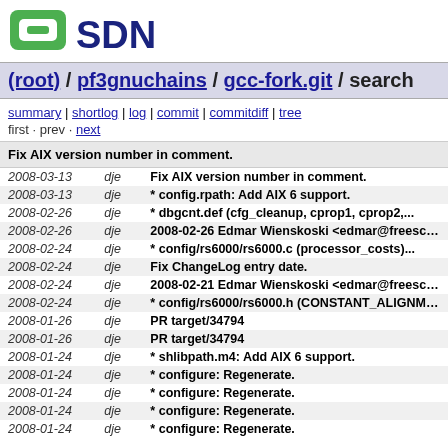[Figure (logo): OSDN logo in green and dark blue]
(root) / pf3gnuchains / gcc-fork.git / search
summary | shortlog | log | commit | commitdiff | tree
first · prev · next
Fix AIX version number in comment.
| date | author | message |
| --- | --- | --- |
| 2008-03-13 | dje | Fix AIX version number in comment. |
| 2008-03-13 | dje | * config.rpath: Add AIX 6 support. |
| 2008-02-26 | dje | * dbgcnt.def (cfg_cleanup, cprop1, cprop2,... |
| 2008-02-26 | dje | 2008-02-26 Edmar Wienskoski <edmar@freescale.co |
| 2008-02-24 | dje | * config/rs6000/rs6000.c (processor_costs)... |
| 2008-02-24 | dje | Fix ChangeLog entry date. |
| 2008-02-24 | dje | 2008-02-21 Edmar Wienskoski <edmar@freescale.co |
| 2008-02-24 | dje | * config/rs6000/rs6000.h (CONSTANT_ALIGNMENT... |
| 2008-01-26 | dje | PR target/34794 |
| 2008-01-26 | dje | PR target/34794 |
| 2008-01-24 | dje | * shlibpath.m4: Add AIX 6 support. |
| 2008-01-24 | dje | * configure: Regenerate. |
| 2008-01-24 | dje | * configure: Regenerate. |
| 2008-01-24 | dje | * configure: Regenerate. |
| 2008-01-24 | dje | * configure: Regenerate. |